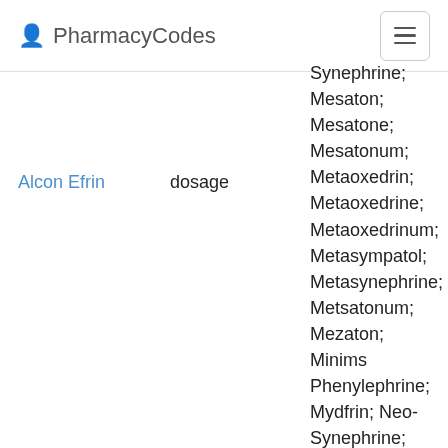PharmacyCodes
Alcon Efrin
dosage
Synephrine; Mesaton; Mesatone; Mesatonum; Metaoxedrin; Metaoxedrine; Metaoxedrinum; Metasympatol; Metasynephrine; Metsatonum; Mezaton; Minims Phenylephrine; Mydfrin; Neo-Synephrine; Neo-Synephrine Nasal Drops; Neo-Synephrine Nasal Jelly; Neo-Synephrine Nasal Spray; Neofrin; Neophryn; Neosynephrine; Nostril; Nostril Spray Pump; Nostril Spray Pump Mild; Ocu-Phrin Sterile Eye Drops; Ocugestrin; Phenoptic; Phenylephrine...